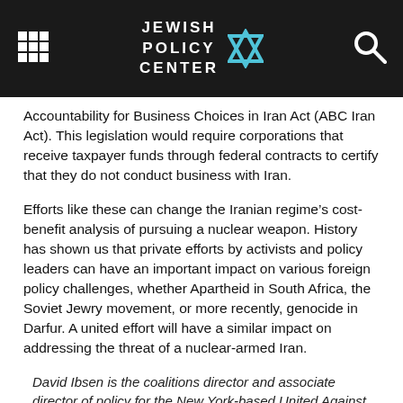JEWISH POLICY CENTER
Accountability for Business Choices in Iran Act (ABC Iran Act). This legislation would require corporations that receive taxpayer funds through federal contracts to certify that they do not conduct business with Iran.
Efforts like these can change the Iranian regime’s cost-benefit analysis of pursuing a nuclear weapon. History has shown us that private efforts by activists and policy leaders can have an important impact on various foreign policy challenges, whether Apartheid in South Africa, the Soviet Jewry movement, or more recently, genocide in Darfur. A united effort will have a similar impact on addressing the threat of a nuclear-armed Iran.
David Ibsen is the coalitions director and associate director of policy for the New York-based United Against Nuclear Iran. The views expressed here are his own.